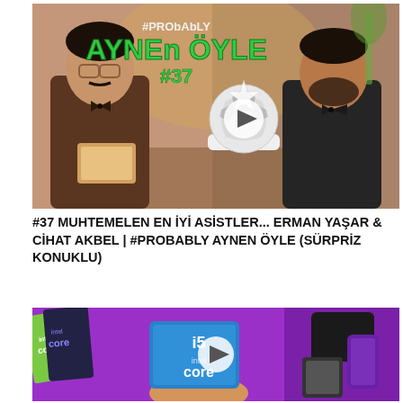[Figure (photo): Two men in suits sit across from each other in a restaurant setting. A soccer ball on a serving tray is between them. Overlay text reads '#PROBABLY AYNEN ÖYLE #37' with a play button icon.]
#37 MUHTEMELEN EN İYİ ASİSTLER... ERMAN YAŞAR & CİHAT AKBEL | #PROBABLY AYNEN ÖYLE (SÜRPRİZ KONUKLU)
[Figure (photo): Colorful product boxes including Intel Core i5 processor box held by a hand, surrounded by various tech product packaging on a purple background. A play button icon overlay is visible.]